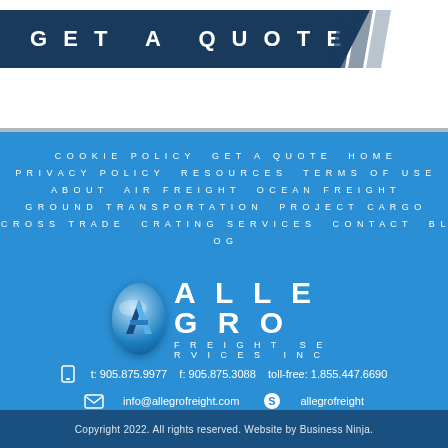GET A QUOTE
COOKIE POLICY   GET A QUOTE   HOME
PRIVACY POLICY   RESOURCES   TERMS OF USE
ABOUT   AIR FREIGHT   OCEAN FREIGHT
GROUND TRANSPORTATION   PROJECT CARGO
CROSS TRADE   CRATING SERVICES   CONTACT   BLOG
[Figure (logo): Allegro Freight Services Inc logo: circular blue gradient emblem with stylized white/dark-blue 'A' chevron, next to text ALLEGRO FREIGHT SERVICES INC]
t: 905.875.9977   f: 905.875.3088   toll-free: 1.855.447.6690
info@allegrofreight.com   allegrofreight
Copyright 2022. All rights reserved. Website by Business Ninja.